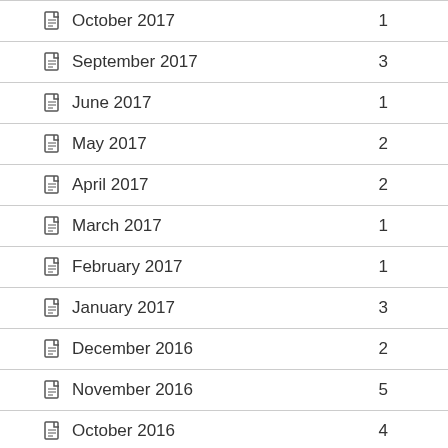October 2017  1
September 2017  3
June 2017  1
May 2017  2
April 2017  2
March 2017  1
February 2017  1
January 2017  3
December 2016  2
November 2016  5
October 2016  4